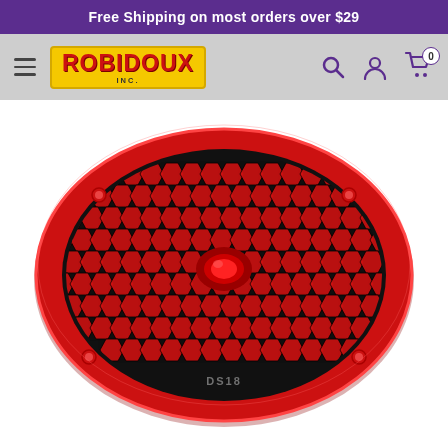Free Shipping on most orders over $29
[Figure (logo): Robidoux Inc. logo - yellow background with red bold text]
[Figure (photo): Red oval speaker grille with black honeycomb mesh pattern and red center tweeter, DS18 brand, viewed from front]